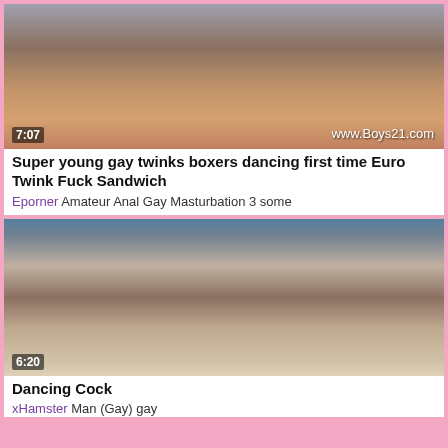[Figure (photo): Video thumbnail showing a hand, with watermark www.Boys21.com and duration 7:07]
Super young gay twinks boxers dancing first time Euro Twink Fuck Sandwich
Eporner Amateur Anal Gay Masturbation 3 some
[Figure (photo): Video thumbnail showing a body close-up with duration 6:20]
Dancing Cock
xHamster Man (Gay) gay